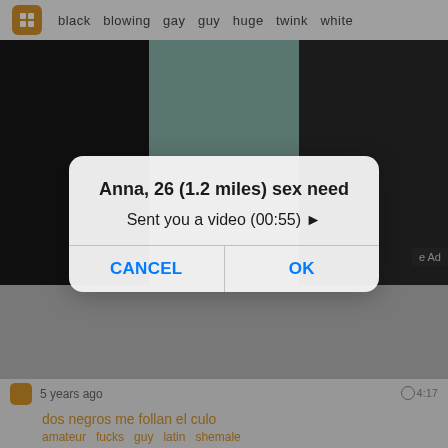[Figure (screenshot): Mobile browser screenshot showing adult content website with video thumbnails in a grid layout. Background shows dark and teal colored video thumbnail panels.]
black  blowing  gay  guy  huge  twink  white
5 years ago   4:17
dos negros me follan el culo
amateur  fucks  guy  latin  shemale
[Figure (screenshot): iOS-style modal dialog overlay with title 'Anna, 26 (1.2 miles) sex need', message 'Sent you a video (00:55) ▶', and two buttons: CANCEL and OK in blue text.]